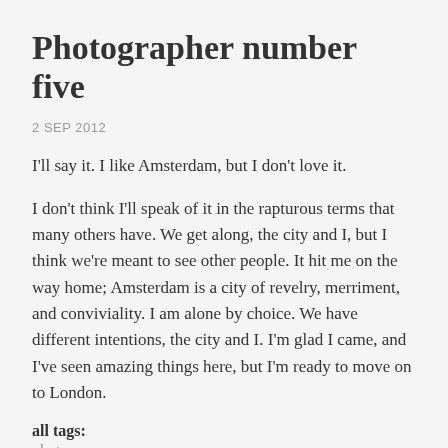Photographer number five
2 SEP 2012
I'll say it. I like Amsterdam, but I don't love it.
I don't think I'll speak of it in the rapturous terms that many others have. We get along, the city and I, but I think we're meant to see other people. It hit me on the way home; Amsterdam is a city of revelry, merriment, and conviviality. I am alone by choice. We have different intentions, the city and I. I'm glad I came, and I've seen amazing things here, but I'm ready to move on to London.
all tags: photos